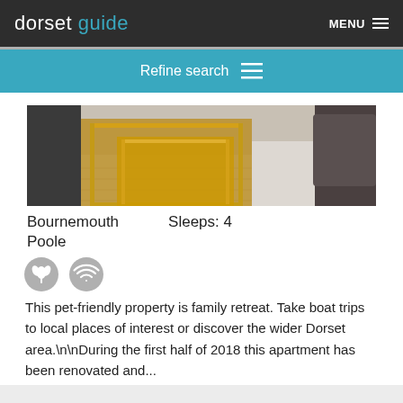dorset guide | MENU
Refine search
[Figure (photo): Interior photo of a holiday apartment showing wooden nesting tables on a light wood floor with a dark sofa partially visible]
Bournemouth    Sleeps: 4
Poole
[Figure (illustration): Two circular grey icons: a flower/tulip icon and a WiFi icon]
This pet-friendly property is family retreat. Take boat trips to local places of interest or discover the wider Dorset area.\n\nDuring the first half of 2018 this apartment has been renovated and...
Show on map    add